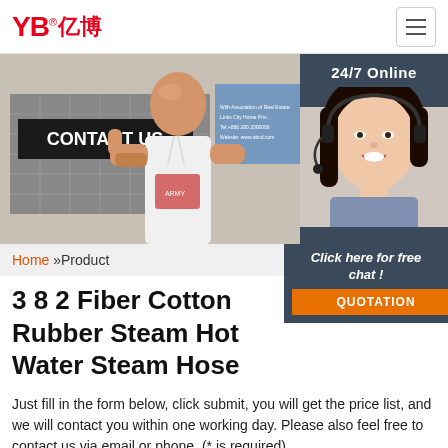[Figure (logo): YB亿博 company logo in red]
[Figure (photo): Trade show booth photo with man giving thumbs up, CONTACT US sign, and 24/7 Online customer service agent with headset]
Home »Product
3 8 2 Fiber Cotton Rubber Steam Hot Water Steam Hose
Just fill in the form below, click submit, you will get the price list, and we will contact you within one working day. Please also feel free to contact us via email or phone. (* is required).